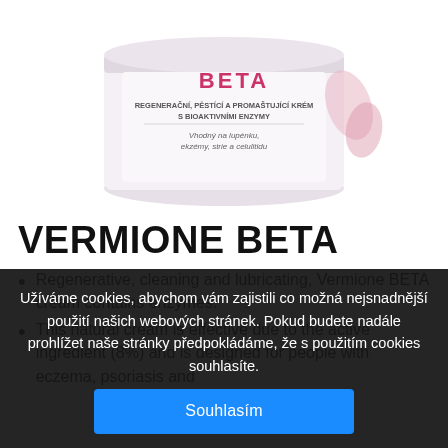[Figure (photo): Product photo of a white jar labeled VERMIONE BETA - Regenerační, pěstící a promaštující krém s bioaktivními enzymy. Vhodný na lupénku, ekzémy, strie a celulitidu.]
VERMIONE BETA
Regenerative, cleaning and lubricating, Vermione BETA cream contains enzymes.
This natural cream is effective due to the active ingredient (8%) and is designed for people with eczema, psoriasis and
Užíváme cookies, abychom vám zajistili co možná nejsnadnější použití našich webových stránek. Pokud budete nadále prohlížet naše stránky předpokládáme, že s použitím cookies souhlasíte.
Souhlasím